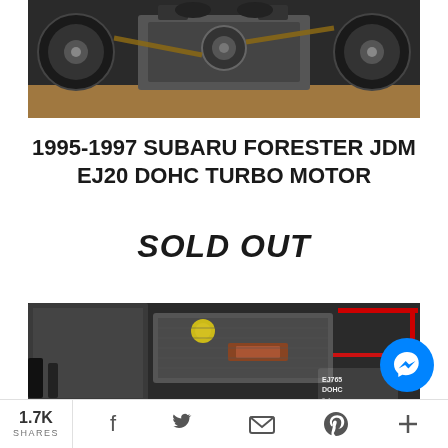[Figure (photo): Engine top view showing Subaru EJ20 DOHC turbo motor from above, with round pulley/alternator components on each side and a belt running diagonally across the center block, wooden surface visible below.]
1995-1997 SUBARU FORESTER JDM EJ20 DOHC TURBO MOTOR
SOLD OUT
[Figure (photo): Engine bay photo showing Subaru EJ20 motor installed, with red wires visible, yellow oil cap, various hoses and components, and an EJ20 DOHC label sticker visible on the engine block.]
1.7K SHARES